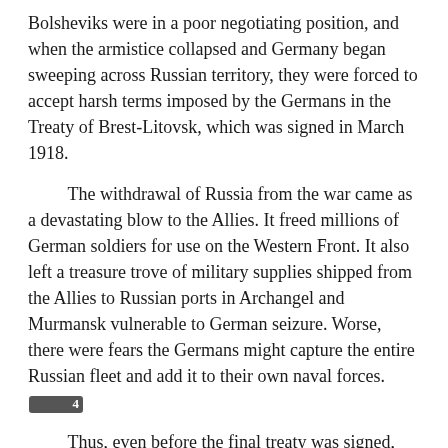Bolsheviks were in a poor negotiating position, and when the armistice collapsed and Germany began sweeping across Russian territory, they were forced to accept harsh terms imposed by the Germans in the Treaty of Brest-Litovsk, which was signed in March 1918.
The withdrawal of Russia from the war came as a devastating blow to the Allies. It freed millions of German soldiers for use on the Western Front. It also left a treasure trove of military supplies shipped from the Allies to Russian ports in Archangel and Murmansk vulnerable to German seizure. Worse, there were fears the Germans might capture the entire Russian fleet and add it to their own naval forces.[4]
Thus, even before the final treaty was signed, Britain began sending forces into Russia, and requested France and the United States to do likewise. Their foremost goal was protecting Allied supplies. In a sign of the confusion and contradictory goals that were to mark the entire Russian operation, the Allies were invited by the Soviet government, which hoped to continue the influx of war material (which it could then turn on its domestic enemies), yet it was also an open desire of the British to topple the Bolsheviks and